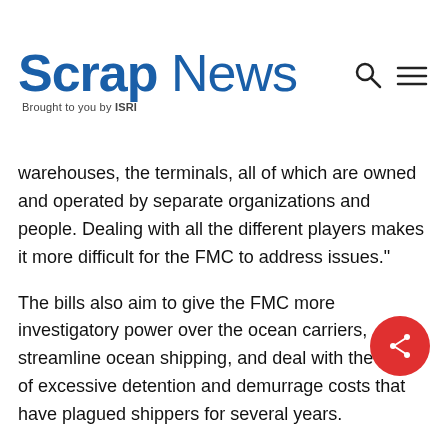Scrap News — Brought to you by ISRI
warehouses, the terminals, all of which are owned and operated by separate organizations and people. Dealing with all the different players makes it more difficult for the FMC to address issues."
The bills also aim to give the FMC more investigatory power over the ocean carriers, streamline ocean shipping, and deal with the issue of excessive detention and demurrage costs that have plagued shippers for several years.
Having long advocated for relief of the port congestion, shipping, and container issues